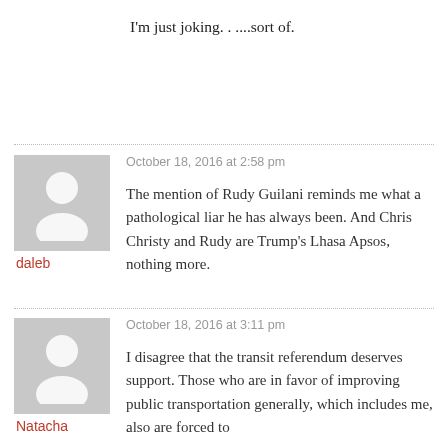I'm just joking. . ....sort of.
October 18, 2016 at 2:58 pm
daleb
The mention of Rudy Guilani reminds me what a pathological liar he has always been. And Chris Christy and Rudy are Trump's Lhasa Apsos, nothing more.
October 18, 2016 at 3:11 pm
Natacha
I disagree that the transit referendum deserves support. Those who are in favor of improving public transportation generally, which includes me, also are forced to